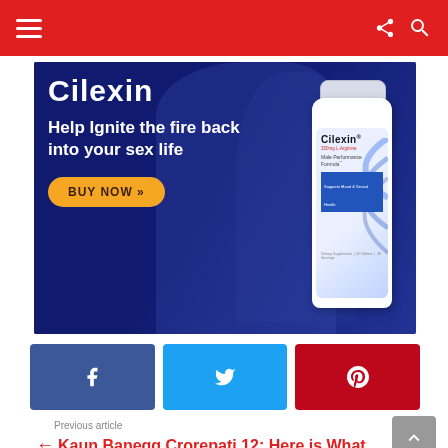Navigation bar with menu, share, and search icons
[Figure (illustration): Cilexin advertisement banner. Dark blue background with couple. Text: 'Cilexin', 'Help Ignite the fire back into your sex life', 'BUY NOW »'. Product bottle of Cilexin Male Performance Formula shown on right.]
[Figure (infographic): Social share buttons row: Facebook (blue), Twitter (cyan), Pinterest (red)]
Previous article
← Kaun Banegg Crorepati 12: Here is What